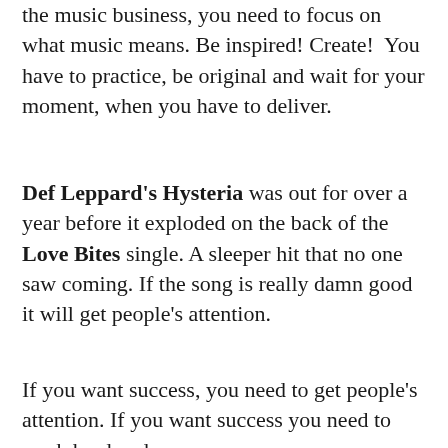the music business, you need to focus on what music means. Be inspired! Create!  You have to practice, be original and wait for your moment, when you have to deliver.
Def Leppard's Hysteria was out for over a year before it exploded on the back of the Love Bites single. A sleeper hit that no one saw coming. If the song is really damn good it will get people's attention.
If you want success, you need to get people's attention. If you want success you need to work hard and